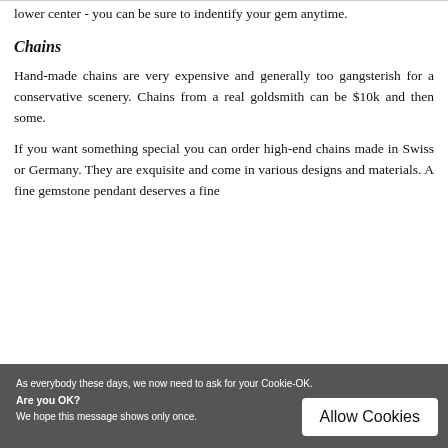lower center - you can be sure to indentify your gem anytime.
Chains
Hand-made chains are very expensive and generally too gangsterish for a conservative scenery. Chains from a real goldsmith can be $10k and then some.
If you want something special you can order high-end chains made in Swiss or Germany. They are exquisite and come in various designs and materials. A fine gemstone pendant deserves a fine
As everybody these days, we now need to ask for your Cookie-OK.
Are you OK?
We hope this message shows only once.
Allow Cookies